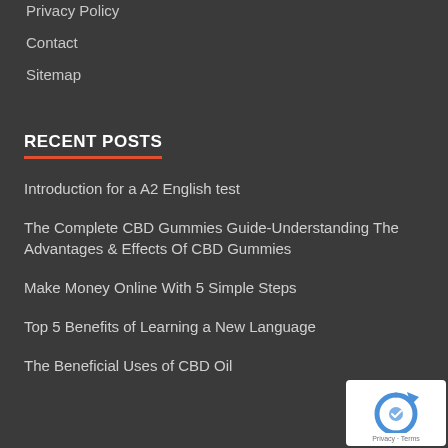Privacy Policy
Contact
Sitemap
RECENT POSTS
Introduction for a A2 English test
The Complete CBD Gummies Guide-Understanding The Advantages & Effects Of CBD Gummies
Make Money Online With 5 Simple Steps
Top 5 Benefits of Learning a New Language
The Beneficial Uses of CBD Oil